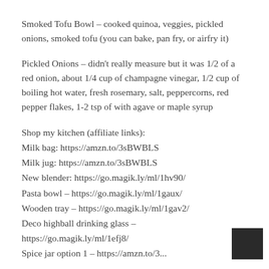Smoked Tofu Bowl – cooked quinoa, veggies, pickled onions, smoked tofu (you can bake, pan fry, or airfry it)
Pickled Onions – didn't really measure but it was 1/2 of a red onion, about 1/4 cup of champagne vinegar, 1/2 cup of boiling hot water, fresh rosemary, salt, peppercorns, red pepper flakes, 1-2 tsp of with agave or maple syrup
Shop my kitchen (affiliate links):
Milk bag: https://amzn.to/3sBWBLS
Milk jug: https://amzn.to/3sBWBLS
New blender: https://go.magik.ly/ml/1hv90/
Pasta bowl – https://go.magik.ly/ml/1gaux/
Wooden tray – https://go.magik.ly/ml/1gav2/
Deco highball drinking glass – https://go.magik.ly/ml/1efj8/
Spice jar option 1 – https://amzn.to/3...